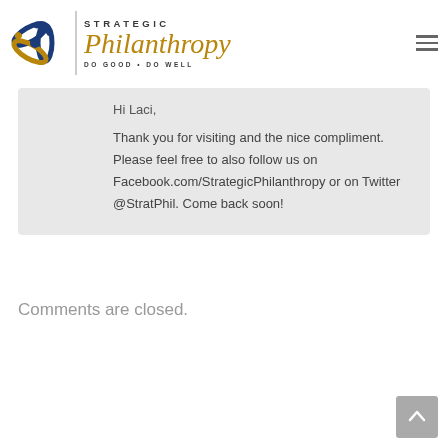[Figure (logo): Strategic Philanthropy logo with circular blue/gold emblem, vertical divider, and text reading STRATEGIC Philanthropy DO GOOD • DO WELL]
Hi Laci,

Thank you for visiting and the nice compliment. Please feel free to also follow us on Facebook.com/StrategicPhilanthropy or on Twitter @StratPhil. Come back soon!
Comments are closed.